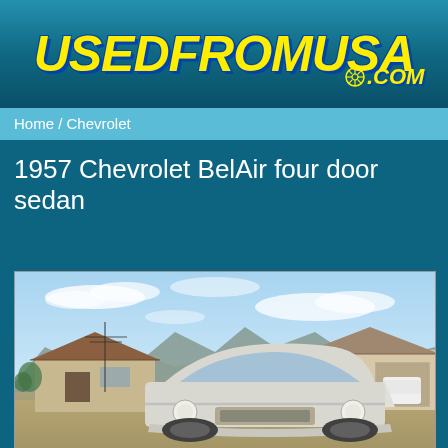USEDFROMUSA.COM
Home / Chevrolet
1957 Chevrolet BelAir four door sedan
[Figure (photo): Photograph of a 1957 Chevrolet BelAir four door sedan parked in a residential driveway in a desert setting. The car is white/light colored. Background shows houses with tile roofs, a white truck in a garage, power lines, mountains, and a partly cloudy blue sky.]